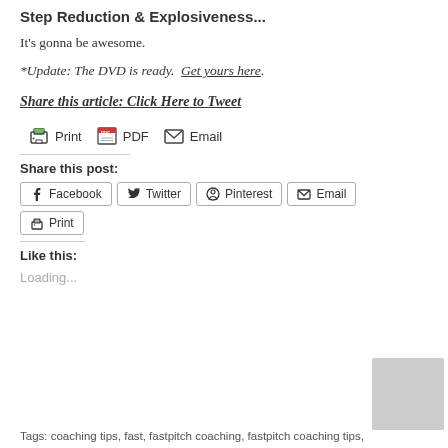Step Reduction & Explosiveness...
It's gonna be awesome.
*Update: The DVD is ready.  Get yours here.
Share this article: Click Here to Tweet
[Figure (infographic): Print, PDF, Email toolbar icons]
Share this post:
[Figure (infographic): Social share buttons: Facebook, Twitter, Pinterest, Email, Print]
Like this:
Loading...
Tags: coaching tips, fast, fastpitch coaching, fastpitch coaching tips,